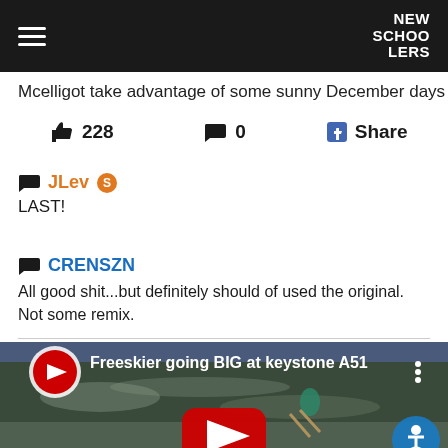NEW SCHOOLERS
Mcelligot take advantage of some sunny December days in t
👍 228   💬 0   Share
💬 JLev 🟠
LAST!
💬 CRENSZN
All good shit...but definitely should of used the original. Not some remix.
[Figure (screenshot): YouTube video embed showing 'Freeskier going BIG at keystone A51' with skier in the air against a snowy mountain backdrop and red YouTube play button overlay]